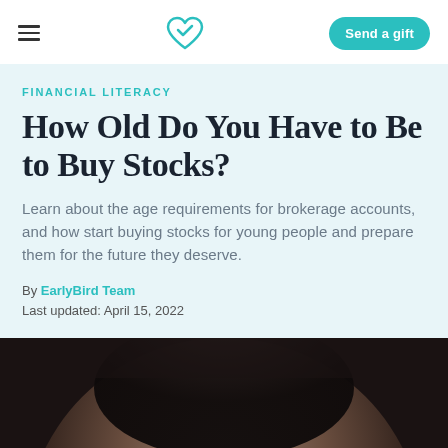EarlyBird — Send a gift
FINANCIAL LITERACY
How Old Do You Have to Be to Buy Stocks?
Learn about the age requirements for brokerage accounts, and how start buying stocks for young people and prepare them for the future they deserve.
By EarlyBird Team
Last updated: April 15, 2022
[Figure (photo): Close-up photo of a person's face, partially visible from top of frame, dark hair, blurred background]